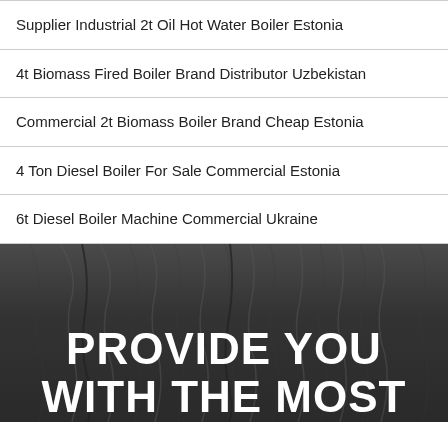Supplier Industrial 2t Oil Hot Water Boiler Estonia
4t Biomass Fired Boiler Brand Distributor Uzbekistan
Commercial 2t Biomass Boiler Brand Cheap Estonia
4 Ton Diesel Boiler For Sale Commercial Estonia
6t Diesel Boiler Machine Commercial Ukraine
[Figure (photo): Dark textured wood or coal surface background with large white bold text reading 'PROVIDE YOU WITH THE MOST' overlaid]